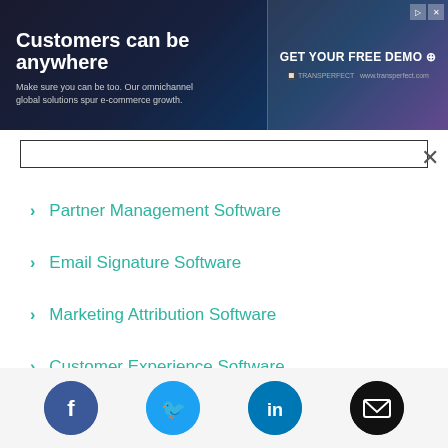[Figure (screenshot): Advertisement banner: 'Customers can be anywhere. Make sure you can be too. Our omnichannel global solutions spur e-commerce growth.' with CTA 'GET YOUR FREE DEMO' and TransPerfect branding.]
Partner Management Software
Email Signature Software
Marketing Attribution Software
Customer Experience Software
Budgeting Software
Audit Software
[Figure (infographic): Footer social media icons: Facebook (blue circle with f), Twitter (light blue circle with bird), LinkedIn (blue circle with in), Email (black circle with envelope)]